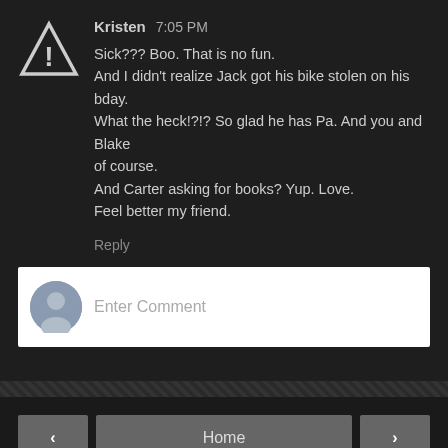Kristen 7:05 PM
Sick??? Boo. That is no fun.
And I didn't realize Jack got his bike stolen on his bday. What the heck!?!? So glad he has Pa. And you and Blake of course.
And Carter asking for books? Yup. Love.
Feel better my friend.
Reply
Enter Comment
Home
View web version
Powered by Blogger.